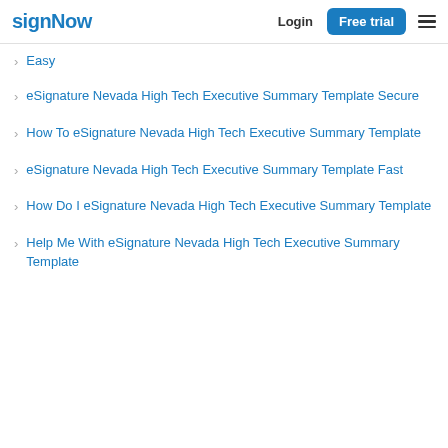signNow | Login | Free trial
Easy
eSignature Nevada High Tech Executive Summary Template Secure
How To eSignature Nevada High Tech Executive Summary Template
eSignature Nevada High Tech Executive Summary Template Fast
How Do I eSignature Nevada High Tech Executive Summary Template
Help Me With eSignature Nevada High Tech Executive Summary Template